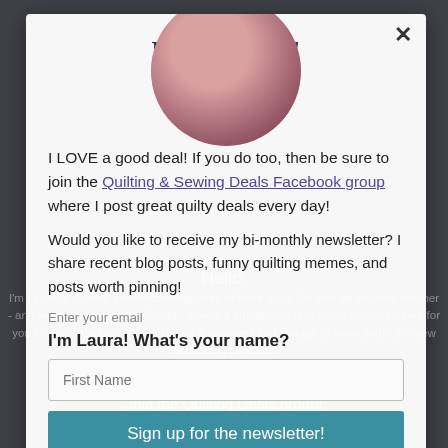[Figure (screenshot): Popup modal overlay on a quilting blog. The modal contains a circular avatar photo of the author Laura, a title 'Hello, friend!', body text about a Quilting & Sewing Deals Facebook group, newsletter signup with email field, first name field, and a teal 'Sign up for the newsletter!' button. Behind the modal, background blog text is partially visible including 'Hello:', intro text about Laura being a homeschooling mom, 'Sign up for the newsletter!', 'Join the Quilting Deals group!', and 'Powered by Blogger'. A close X button is in the top-right of the modal.]
Hello, friend!
I LOVE a good deal! If you do too, then be sure to join the Quilting & Sewing Deals Facebook group where I post great quilty deals every day!
Would you like to receive my bi-monthly newsletter? I share recent blog posts, funny quilting memes, and posts worth pinning!
Enter your email
I'm Laura! What's your name?
First Name
Sign up for the newsletter!
Hello:
I'm Laura! a quilting, homeschooling mom of three boys. I'm also an ex-math teacher - and with a last name like Piland - there's a strong love of pi in our house! I'd love for you to take a look around and leave a comment so I can get to know you! Let's sew something together!
Sign up for the newsletter!
Join the Quilting Deals group!
Powered by Blogger